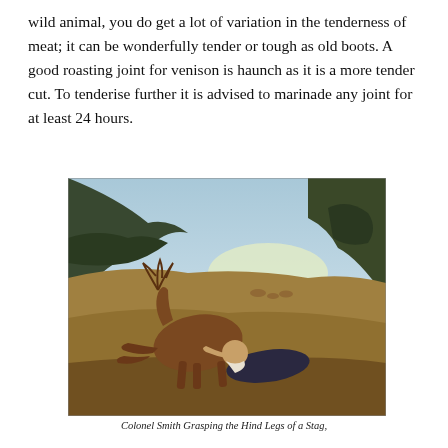wild animal, you do get a lot of variation in the tenderness of meat; it can be wonderfully tender or tough as old boots. A good roasting joint for venison is haunch as it is a more tender cut. To tenderise further it is advised to marinade any joint for at least 24 hours.
[Figure (photo): An oil painting depicting a man (Colonel Smith) lying on the ground grasping the hind legs of a stag/deer in a pastoral landscape setting with trees and hills in the background.]
Colonel Smith Grasping the Hind Legs of a Stag,